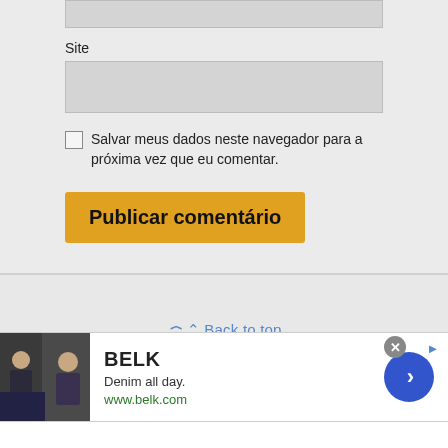[Figure (screenshot): Top partial input box (grey, cropped at top)]
Site
[Figure (screenshot): Site input text field (grey rectangle)]
[Figure (screenshot): Checkbox (unchecked square)]
Salvar meus dados neste navegador para a próxima vez que eu comentar.
[Figure (screenshot): Publicar comentário button (orange/gold)]
⋀ Back to top
[Figure (screenshot): BELK advertisement banner: image of women, BELK brand, Denim all day, www.belk.com, blue next arrow button, close X button]